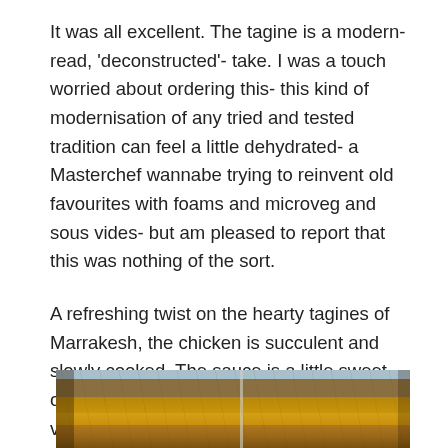It was all excellent. The tagine is a modern- read, 'deconstructed'- take. I was a touch worried about ordering this- this kind of modernisation of any tried and tested tradition can feel a little dehydrated- a Masterchef wannabe trying to reinvent old favourites with foams and microveg and sous vides- but am pleased to report that this was nothing of the sort.
A refreshing twist on the hearty tagines of Marrakesh, the chicken is succulent and slowly cooked. The sauce is a little sweet, offset nicely by the tiny bowl of a spicy, velvety dipping sauce. I devoured it.
[Figure (photo): Partial view of a food dish, likely a tagine, with warm golden-brown tones suggesting cooked chicken or sauce, against an earthy warm background with a vertical light-colored line element visible.]